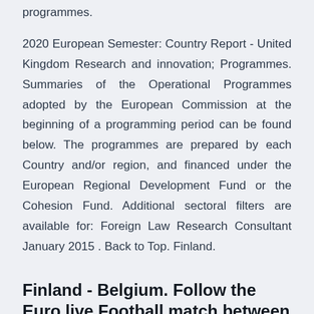programmes.
2020 European Semester: Country Report - United Kingdom Research and innovation; Programmes. Summaries of the Operational Programmes adopted by the European Commission at the beginning of a programming period can be found below. The programmes are prepared by each Country and/or region, and financed under the European Regional Development Fund or the Cohesion Fund. Additional sectoral filters are available for: Foreign Law Research Consultant January 2015 . Back to Top. Finland.
Finland - Belgium. Follow the Euro live Football match between Finland and Belgium with